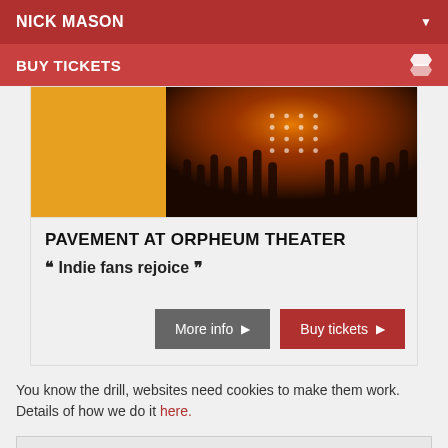NICK MASON
BUY TICKETS
[Figure (photo): Concert photo showing crowd with raised hands under orange stage lights, with a yellow/gold left panel]
PAVEMENT AT ORPHEUM THEATER
““ Indie fans rejoice ””
More info ►   Buy tickets ►
You know the drill, websites need cookies to make them work. Details of how we do it here.
Got it!